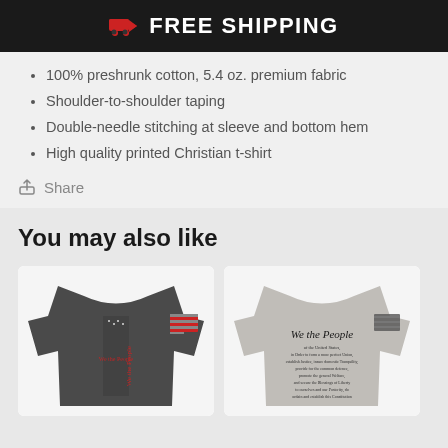FREE SHIPPING
100% preshrunk cotton, 5.4 oz. premium fabric
Shoulder-to-shoulder taping
Double-needle stitching at sleeve and bottom hem
High quality printed Christian t-shirt
Share
You may also like
[Figure (photo): Dark grey t-shirt with vertical American flag and We the People text, red flag on sleeve]
[Figure (photo): Light grey t-shirt with We the People Constitution text and black flag on sleeve]